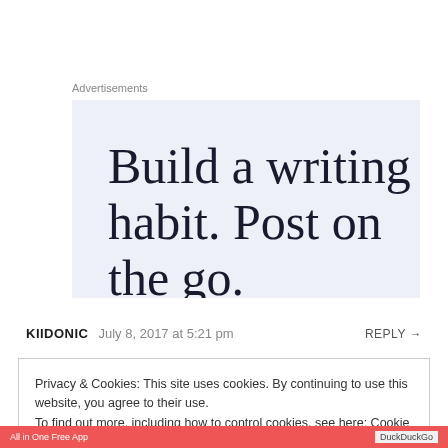Advertisements
[Figure (other): Advertisement banner with text 'Build a writing habit. Post on the go.' on a light blue-grey background]
KIIDONIC   July 8, 2017 at 5:21 pm   REPLY →
Privacy & Cookies: This site uses cookies. By continuing to use this website, you agree to their use.
To find out more, including how to control cookies, see here: Cookie Policy
Close and accept